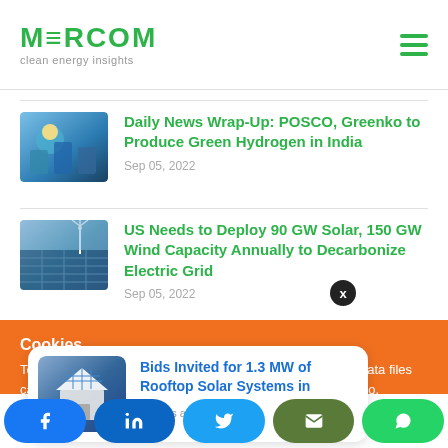[Figure (logo): Mercom clean energy insights logo with hamburger menu icon]
Daily News Wrap-Up: POSCO, Greenko to Produce Green Hydrogen in India
Sep 05, 2022
US Needs to Deploy 90 GW Solar, 150 GW Wind Capacity Annually to Decarbonize Electric Grid
Sep 05, 2022
Cookies
To make this site work properly, we sometimes place small data files called cookies on your device. Most websites do this too.
Bids Invited for 1.3 MW of Rooftop Solar Systems in
2 hours ago